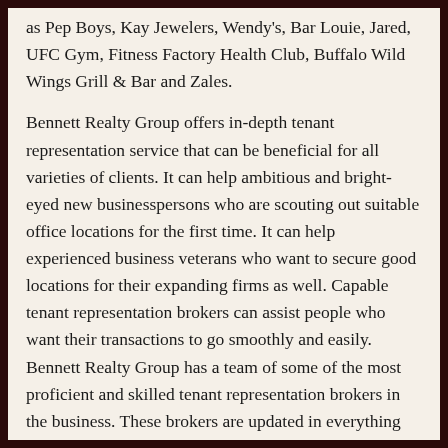as Pep Boys, Kay Jewelers, Wendy's, Bar Louie, Jared, UFC Gym, Fitness Factory Health Club, Buffalo Wild Wings Grill & Bar and Zales.
Bennett Realty Group offers in-depth tenant representation service that can be beneficial for all varieties of clients. It can help ambitious and bright-eyed new businesspersons who are scouting out suitable office locations for the first time. It can help experienced business veterans who want to secure good locations for their expanding firms as well. Capable tenant representation brokers can assist people who want their transactions to go smoothly and easily. Bennett Realty Group has a team of some of the most proficient and skilled tenant representation brokers in the business. These brokers are updated in everything from